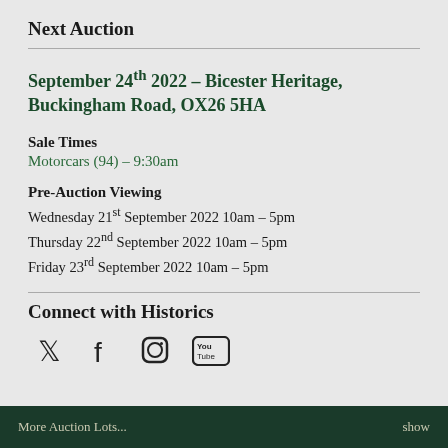Next Auction
September 24th 2022 – Bicester Heritage, Buckingham Road, OX26 5HA
Sale Times
Motorcars (94) – 9:30am
Pre-Auction Viewing
Wednesday 21st September 2022 10am – 5pm
Thursday 22nd September 2022 10am – 5pm
Friday 23rd September 2022 10am – 5pm
Connect with Historics
[Figure (infographic): Social media icons: Twitter, Facebook, Instagram, YouTube]
More Auction Lots...    show